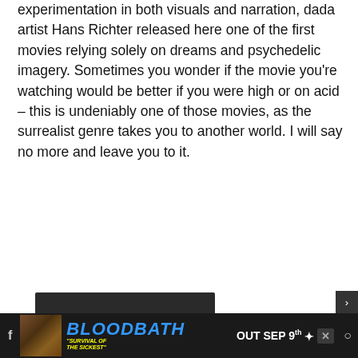experimentation in both visuals and narration, dada artist Hans Richter released here one of the first movies relying solely on dreams and psychedelic imagery. Sometimes you wonder if the movie you're watching would be better if you were high or on acid – this is undeniably one of those movies, as the surrealist genre takes you to another world. I will say no more and leave you to it.
[Figure (screenshot): Embedded YouTube video player showing 'Video unavailable' message. Text reads: 'This video contains content from Lasso Group, who has blocked it on copyright grounds'. Dark background with YouTube play button icon in bottom right.]
[Figure (screenshot): Advertisement banner for 'BLOODBATH - Survival of the Sickest' album. Blue italic bold text 'BLOODBATH', yellow italic text 'SURVIVAL OF THE SICKEST', white text 'OUT SEP 9th' with skull icon. Dark background with album art thumbnail on left.]